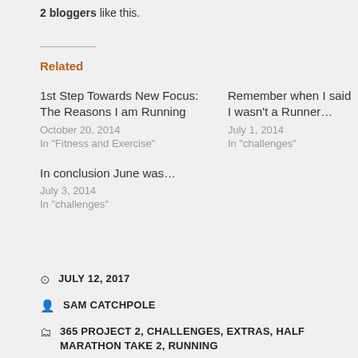2 bloggers like this.
Related
1st Step Towards New Focus: The Reasons I am Running
October 20, 2014
In "Fitness and Exercise"
Remember when I said I wasn't a Runner…
July 1, 2014
In "challenges"
In conclusion June was…
July 3, 2014
In "challenges"
JULY 12, 2017
SAM CATCHPOLE
365 PROJECT 2, CHALLENGES, EXTRAS, HALF MARATHON TAKE 2, RUNNING
ACTIVITY, CHALLENGE, EXERCISE, FITNESS, HALF MARATHON, HALF MARATHON TRAINING